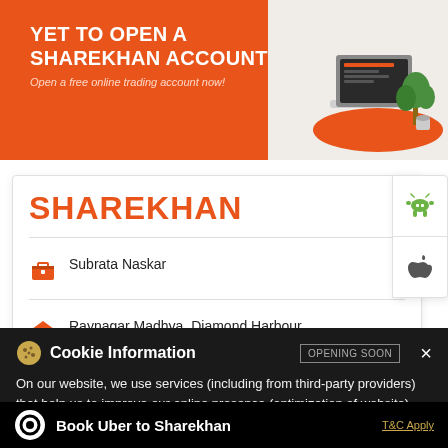[Figure (screenshot): Orange banner advertisement for Sharekhan with text 'YET TO OPEN A SHAREKHAN ACCOUNT? Open a free online trading account now!' and an illustration of a laptop with trading interface on the right side]
SHAREKHAN
Subrata Naskar
Raynagar Madhya, Diamond Harbour
O Indiranagar
Diamond Harbour - 743331
[Figure (screenshot): Android and Apple App Store icons shown as tabs on the right side of the card]
Cookie Information
On our website, we use services (including from third-party providers) that help us to improve our online presence (optimization of website) and to display content that is geared to their interests. We need your consent before being able to use these services.
Book Uber to Sharekhan
T&C Apply